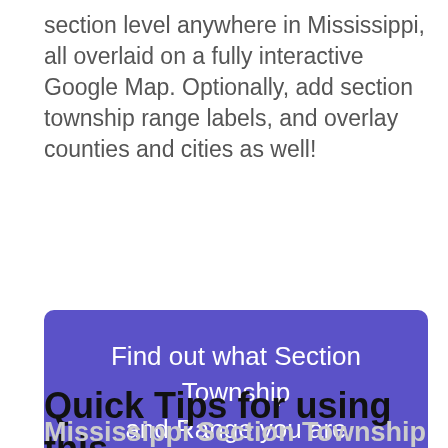section level anywhere in Mississippi, all overlaid on a fully interactive Google Map. Optionally, add section township range labels, and overlay counties and cities as well!
[Figure (other): Purple rounded button with white text reading: Find out what Section Township and Range you are CURRENTLY IN based on GPS location]
Quick Tips for using this
Mississippi Section Township and Range map tool